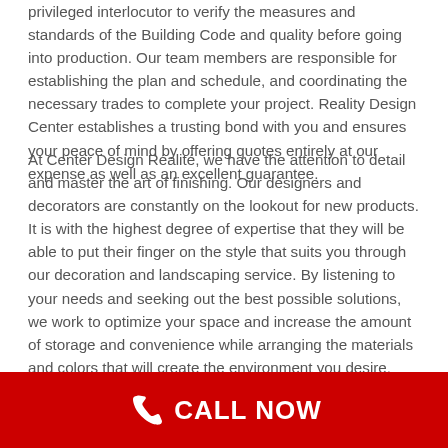privileged interlocutor to verify the measures and standards of the Building Code and quality before going into production. Our team members are responsible for establishing the plan and schedule, and coordinating the necessary trades to complete your project. Reality Design Center establishes a trusting bond with you and ensures your peace of mind by offering quotes entirely at our expense as well as an excellent guarantee.
At Center Design Réalité, we have the attention to detail and master the art of finishing. Our designers and decorators are constantly on the lookout for new products. It is with the highest degree of expertise that they will be able to put their finger on the style that suits you through our decoration and landscaping service. By listening to your needs and seeking out the best possible solutions, we work to optimize your space and increase the amount of storage and convenience while arranging the materials and colors that will create the environment you desire.
We inform you about any new developments in your
[Figure (other): Red call-to-action bar at the bottom with a white phone icon and 'CALL NOW' text in white bold letters]